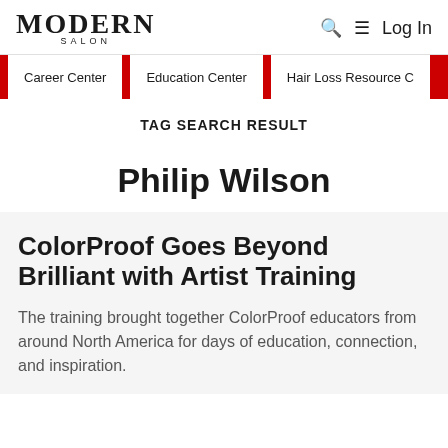MODERN SALON | Log In
Career Center
Education Center
Hair Loss Resource C
TAG SEARCH RESULT
Philip Wilson
ColorProof Goes Beyond Brilliant with Artist Training
The training brought together ColorProof educators from around North America for days of education, connection, and inspiration.